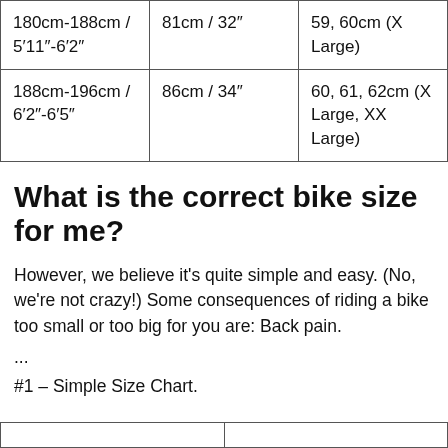| 180cm-188cm / 5‘11”-6’2″ | 81cm / 32″ | 59, 60cm (X Large) |
| 188cm-196cm / 6’2″-6’5″ | 86cm / 34″ | 60, 61, 62cm (X Large, XX Large) |
What is the correct bike size for me?
However, we believe it’s quite simple and easy. (No, we’re not crazy!) Some consequences of riding a bike too small or too big for you are: Back pain.
...
#1 – Simple Size Chart.
|  |  |